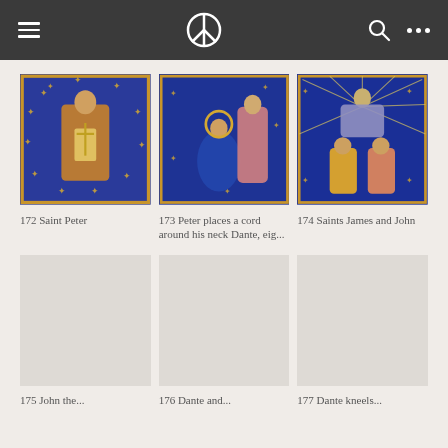Navigation bar with hamburger menu, peace symbol logo, search icon, and ellipsis menu
[Figure (photo): Medieval illuminated manuscript image: Saint Peter figure in golden robe against blue background with gold stars]
172 Saint Peter
[Figure (photo): Medieval illuminated manuscript image: Peter places a cord around his neck, Dante, figures in blue and pink robes]
173 Peter places a cord around his neck Dante, eig...
[Figure (photo): Medieval illuminated manuscript image: Saints James and John, figures in blue background with golden rays]
174 Saints James and John
[Figure (photo): Placeholder thumbnail for item 175]
175 John the...
[Figure (photo): Placeholder thumbnail for item 176]
176 Dante and...
[Figure (photo): Placeholder thumbnail for item 177]
177 Dante kneels...